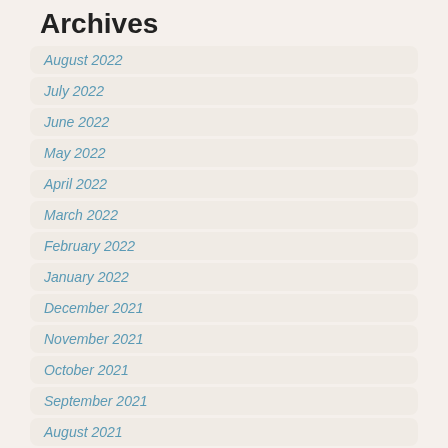Archives
August 2022
July 2022
June 2022
May 2022
April 2022
March 2022
February 2022
January 2022
December 2021
November 2021
October 2021
September 2021
August 2021
July 2021
June 2021
May 2021